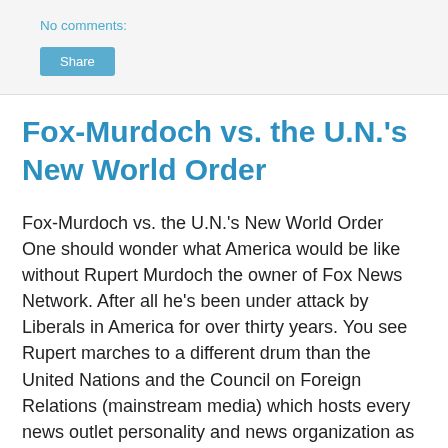No comments:
Share
Fox-Murdoch vs. the U.N.'s New World Order
Fox-Murdoch vs. the U.N.'s New World Order
One should wonder what America would be like without Rupert Murdoch the owner of Fox News Network. After all he's been under attack by Liberals in America for over thirty years. You see Rupert marches to a different drum than the United Nations and the Council on Foreign Relations (mainstream media) which hosts every news outlet personality and news organization as members in the United States and Europe.
By the mid '90s Murdoch owned over 800 news outlets around the world. Right after Murdock acquired Fox in the early '90s, and started developing his Fox News Network across America, liberals